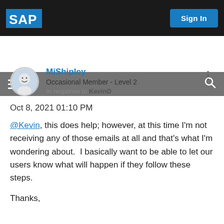SAP  Sign In
[Figure (screenshot): SAP logo in white on black background top-left, Sign In blue button top-right, gray navigation bar with hamburger menu and search icon]
MiShipley
Occasional Member - Level 2
In response to KevinD
Oct 8, 2021 01:10 PM
@Kevin, this does help; however, at this time I'm not receiving any of those emails at all and that's what I'm wondering about.  I basically want to be able to let our users know what will happen if they follow these steps.
Thanks,